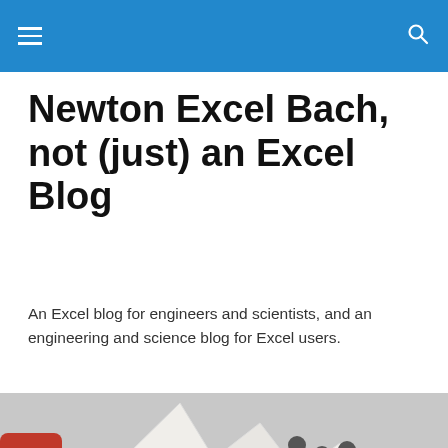Newton Excel Bach, not (just) an Excel Blog — navigation header
Newton Excel Bach, not (just) an Excel Blog
An Excel blog for engineers and scientists, and an engineering and science blog for Excel users.
[Figure (photo): A photograph of a building with white sail-like roof structures, lamp posts, and a red cylindrical structure on the left — appears to be the Sydney Opera House area.]
Column buckling under multiple loads